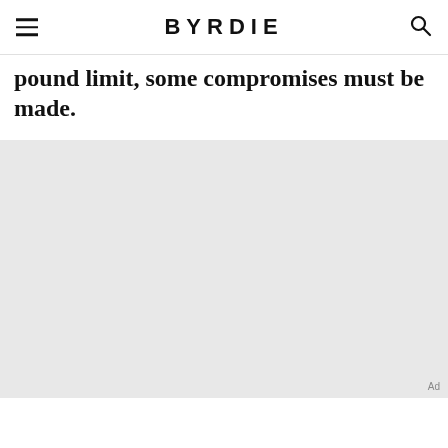BYRDIE
pound limit, some compromises must be made.
[Figure (photo): Light gray rectangular image placeholder area (advertisement or article image)]